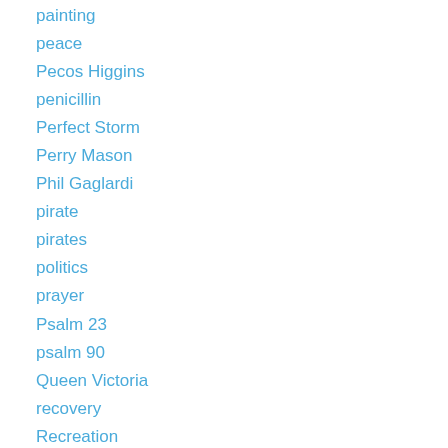painting
peace
Pecos Higgins
penicillin
Perfect Storm
Perry Mason
Phil Gaglardi
pirate
pirates
politics
prayer
Psalm 23
psalm 90
Queen Victoria
recovery
Recreation
Red Cross
Refrigeration
relationshiop
relationship